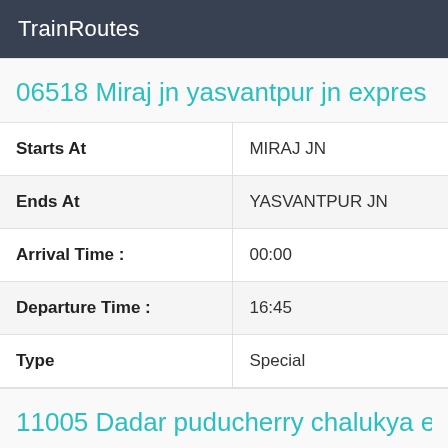TrainRoutes
06518 Miraj jn yasvantpur jn expres
| Starts At | MIRAJ JN |
| Ends At | YASVANTPUR JN |
| Arrival Time : | 00:00 |
| Departure Time : | 16:45 |
| Type | Special |
11005 Dadar puducherry chalukya e
| Starts At | DADAR |